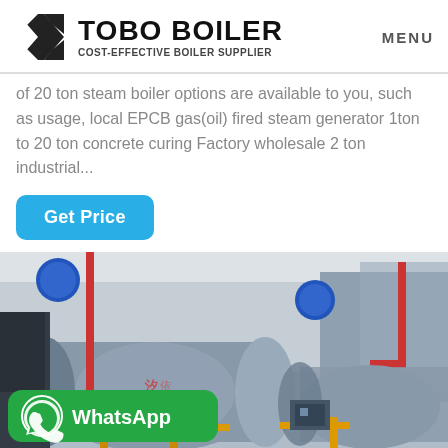TOBO BOILER COST-EFFECTIVE BOILER SUPPLIER | MENU
of 20 ton steam boiler options are available to you, such as usage, local EPCB gas(oil) fired steam generator 1ton to 20 ton concrete curing Factory wholesale 2 ton industrial...
[Figure (other): Blue 'Get Price' button]
[Figure (photo): Industrial boiler room with large cylindrical gas/oil fired steam boilers in blue-gray colors, red and orange pipes, blue pipe caps, yellow gas lines, and WhatsApp badge overlay.]